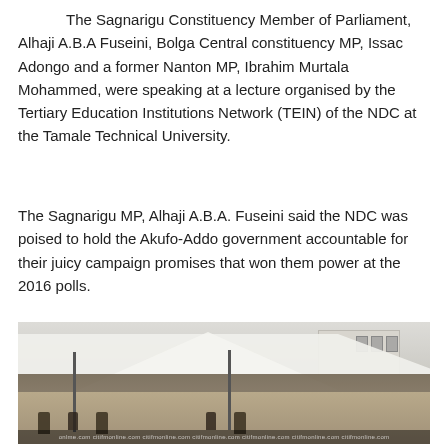The Sagnarigu Constituency Member of Parliament, Alhaji A.B.A Fuseini, Bolga Central constituency MP, Issac Adongo and a former Nanton MP, Ibrahim Murtala Mohammed, were speaking at a lecture organised by the Tertiary Education Institutions Network (TEIN) of the NDC at the Tamale Technical University.
The Sagnarigu MP, Alhaji A.B.A. Fuseini said the NDC was poised to hold the Akufo-Addo government accountable for their juicy campaign promises that won them power at the 2016 polls.
[Figure (photo): Outdoor photo showing a tent or canopy setup with white and dark covers, metal poles, a building in the background, and several people gathered beneath the canopy at what appears to be an outdoor event venue.]